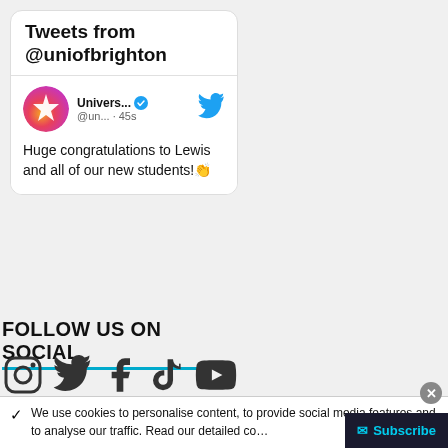[Figure (screenshot): Twitter/X embedded tweet widget showing 'Tweets from @uniofbrighton' header, with a University of Brighton verified account avatar (gradient pink/orange circle with star), username 'Univers... @un... · 45s', tweet text 'Huge congratulations to Lewis and all of our new students!👏', and Twitter bird icon.]
FOLLOW US ON SOCIAL
[Figure (infographic): Row of social media icons: Instagram, Twitter, Facebook, TikTok, YouTube — all in dark grey.]
MEET OUR STUDENT BLOGGERS
✓  We use cookies to personalise content, to provide social media features and to analyse our traffic. Read our detailed co…
✉ Subscribe